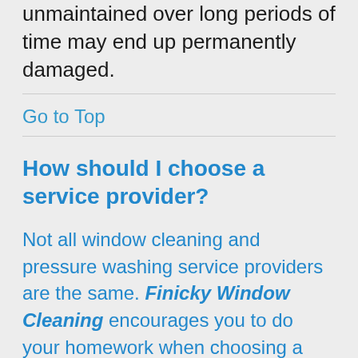unmaintained over long periods of time may end up permanently damaged.
Go to Top
How should I choose a service provider?
Not all window cleaning and pressure washing service providers are the same. Finicky Window Cleaning encourages you to do your homework when choosing a service provider.  Here are some questions that you might want to consider: